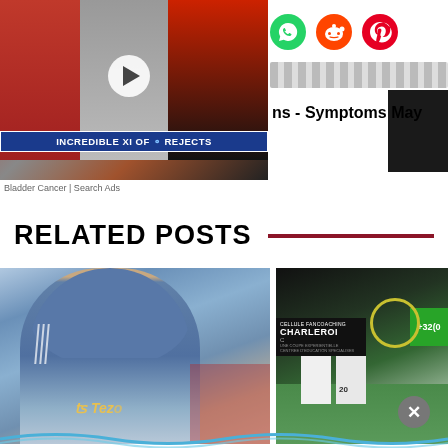[Figure (screenshot): Video thumbnail showing Chelsea Rejects XI with players in red and black kits, play button overlay, text 'INCREDIBLE XI OF CHELSEA REJECTS']
Bladder Cancer | Search Ads
[Figure (infographic): Social share icons: WhatsApp (green phone), Reddit (orange alien), Pinterest (red P)]
ns - Symptoms May
RELATED POSTS
[Figure (photo): Football player in blue hoodie with Manchester United Tezos sponsor kit, standing outside stadium]
[Figure (photo): Two football players in white kits near Charleroi advertising board, number 20 visible, +32(0 sign in background]